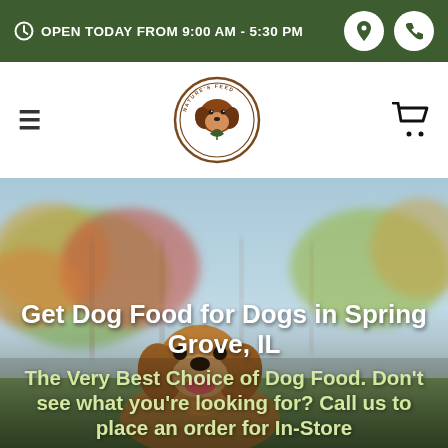OPEN TODAY FROM 9:00 AM - 5:30 PM
[Figure (logo): Nature's Feed circular logo with dog and leaf]
[Figure (photo): Golden retriever dog outdoors with blurred vineyard and autumn foliage background]
Get Dog Food for Dogs in Spring Grove, IL
The Very Best Choice of Dog Food. Don't see what you're looking for? Call us to place an order for In-Store